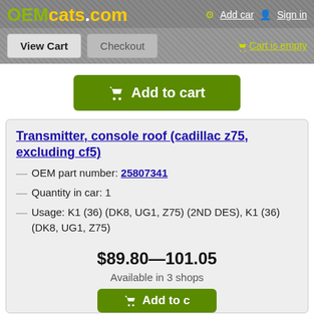OEMcats.com — Add car | Sign in
View Cart | Checkout | Cart is empty
Add to cart
Transmitter, console roof (cadillac z75, excluding cf5)
OEM part number: 25807341
Quantity in car: 1
Usage: K1 (36) (DK8, UG1, Z75) (2ND DES), K1 (36) (DK8, UG1, Z75)
$89.80—101.05
Available in 3 shops
Add to cart